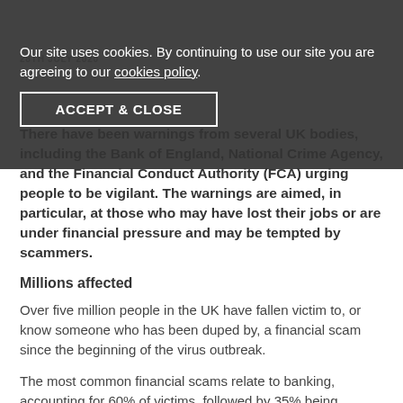28TH JULY 2020
Our site uses cookies. By continuing to use our site you are agreeing to our cookies policy.
ACCEPT & CLOSE
There have been warnings from several UK bodies, including the Bank of England, National Crime Agency, and the Financial Conduct Authority (FCA) urging people to be vigilant. The warnings are aimed, in particular, at those who may have lost their jobs or are under financial pressure and may be tempted by scammers.
Millions affected
Over five million people in the UK have fallen victim to, or know someone who has been duped by, a financial scam since the beginning of the virus outbreak.
The most common financial scams relate to banking, accounting for 60% of victims, followed by 35% being